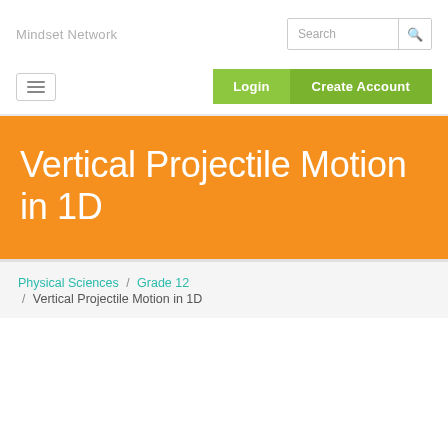Mindset Network
Vertical Projectile Motion in 1D
Physical Sciences / Grade 12 / Vertical Projectile Motion in 1D